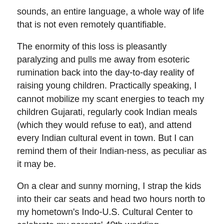sounds, an entire language, a whole way of life that is not even remotely quantifiable.
The enormity of this loss is pleasantly paralyzing and pulls me away from esoteric rumination back into the day-to-day reality of raising young children. Practically speaking, I cannot mobilize my scant energies to teach my children Gujarati, regularly cook Indian meals (which they would refuse to eat), and attend every Indian cultural event in town. But I can remind them of their Indian-ness, as peculiar as it may be.
On a clear and sunny morning, I strap the kids into their car seats and head two hours north to my hometown's Indo-U.S. Cultural Center to celebrate my parents' 40th wedding anniversary and my maternal grandmother's 95th birthday. Anxious not to stand out too much, I meticulously dress myself and the kids in Indian clothes and pack a variety of snacks to thwart meltdowns that might brand us as spoiled Americans.